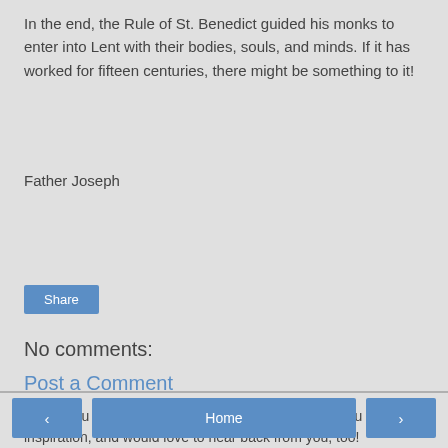In the end, the Rule of St. Benedict guided his monks to enter into Lent with their bodies, souls, and minds.  If it has worked for fifteen centuries, there might be something to it!
Father Joseph
[Figure (other): Share button - blue rectangular button with white text reading 'Share']
No comments:
Post a Comment
Thank you for reading here at Ave Momma! I hope you find inspiration, and would love to hear back from you, too!
< Home >